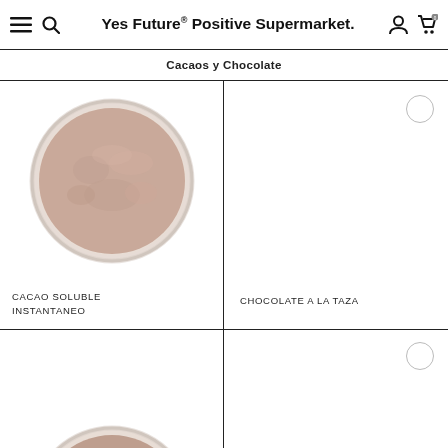Yes Future® Positive Supermarket.
Cacaos y Chocolate
[Figure (photo): Top-down view of a glass jar filled with light brown cacao powder, open lid, on white background]
CACAO SOLUBLE INSTANTANEO
[Figure (photo): Small light grey circle (favourite/heart button outline)]
CHOCOLATE A LA TAZA
[Figure (photo): Partial top-down view of a glass jar filled with brown cacao powder, open lid, on white background]
NIBS DE CACAO CRIOLLO